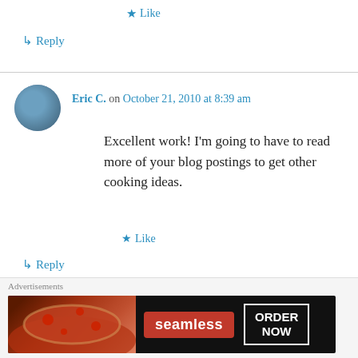★ Like
↳ Reply
Eric C. on October 21, 2010 at 8:39 am
Excellent work! I'm going to have to read more of your blog postings to get other cooking ideas.
★ Like
↳ Reply
suddenexpression on October 21, 2010 at 8:41 am
what a great concept, thanks for sharing! I'll
Advertisements
[Figure (screenshot): Seamless food delivery advertisement banner with pizza image, seamless logo and ORDER NOW button]